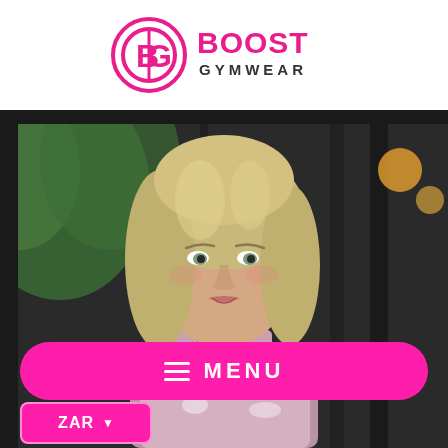[Figure (logo): Boost Gymwear logo — circular pink icon with 'BG' letters and pink bold text 'BOOST GYMWEAR']
[Figure (photo): Portrait photo of a smiling blonde woman wearing a pink and white patterned sleeveless top, outdoors with dark metal framework and green foliage in background]
[Figure (infographic): Hot pink rounded pill-shaped MENU button with hamburger icon (three white lines) and text 'MENU' in white capital letters]
[Figure (infographic): Hot pink rounded rectangle ZAR currency selector button with dropdown arrow]